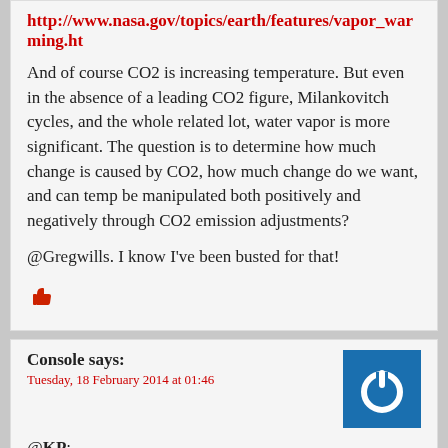Maybe take a look here and note the last quote:
http://www.nasa.gov/topics/earth/features/vapor_warming.ht
And of course CO2 is increasing temperature. But even in the absence of a leading CO2 figure, Milankovitch cycles, and the whole related lot, water vapor is more significant. The question is to determine how much change is caused by CO2, how much change do we want, and can temp be manipulated both positively and negatively through CO2 emission adjustments?
@Gregwills. I know I've been busted for that!
[Figure (illustration): Thumbs up icon in red]
Console says:
Tuesday, 18 February 2014 at 01:46
[Figure (illustration): Blue square avatar with white power/circle icon]
@KP:
No, more water vapor = more precipitation. The only way